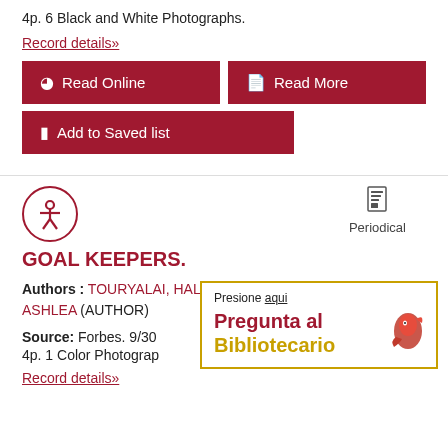4p. 6 Black and White Photographs.
Record details»
[Figure (screenshot): Read Online button (dark red)]
[Figure (screenshot): Read More button (dark red)]
[Figure (screenshot): Add to Saved list button (dark red)]
[Figure (illustration): Accessibility icon circle with person figure]
Periodical
GOAL KEEPERS.
Authors : TOURYALAI, HALAH (AUTHOR); EBELING, ASHLEA (AUTHOR)
Source: Forbes. 9/30
4p. 1 Color Photograp
Record details»
[Figure (screenshot): Popup box: Presione aqui / Pregunta al Bibliotecario with bird logo]